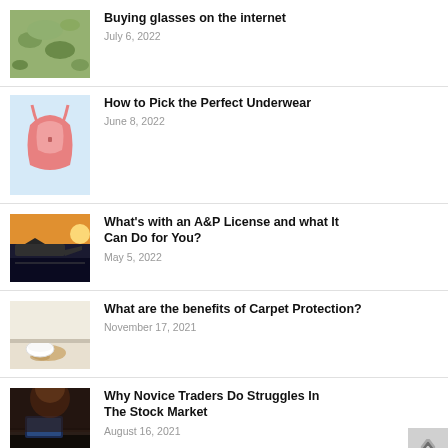Buying glasses on the internet
July 6, 2022
How to Pick the Perfect Underwear
June 8, 2022
What's with an A&P License and what It Can Do for You?
May 5, 2022
What are the benefits of Carpet Protection?
November 17, 2021
Why Novice Traders Do Struggles In The Stock Market
August 16, 2021